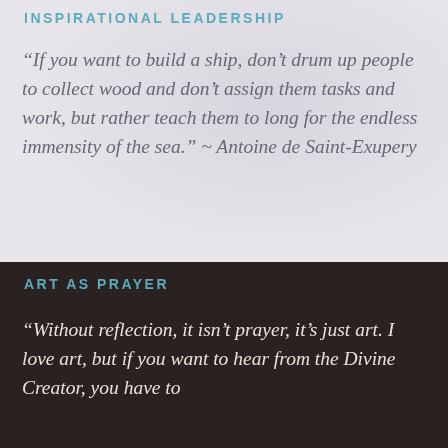INSPIRATIONAL LEADERSHIP
“If you want to build a ship, don’t drum up people to collect wood and don’t assign them tasks and work, but rather teach them to long for the endless immensity of the sea.” ~ Antoine de Saint-Exupery
ART AS PRAYER
“Without reflection, it isn’t prayer, it’s just art. I love art, but if you want to hear from the Divine Creator, you have to